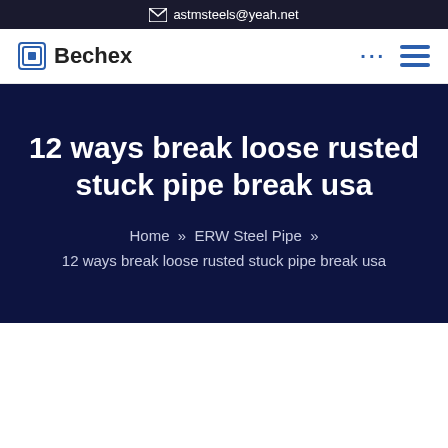astmsteels@yeah.net
[Figure (logo): Bechex logo with blue square bracket icon]
12 ways break loose rusted stuck pipe break usa
Home » ERW Steel Pipe »
12 ways break loose rusted stuck pipe break usa